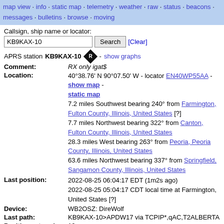map view · info · static map · telemetry · weather · raw · status · beacons · messages · bulletins · browse · moving
Callsign, ship name or locator:
KB9KAX-10  Search  [Clear]
APRS station KB9KAX-10 [R icon] - show graphs
| Field | Value |
| --- | --- |
| Comment: | RX only igat$ |
| Location: | 40°38.76' N 90°07.50' W - locator EN40WP55AA - show map - static map
7.2 miles Southwest bearing 240° from Farmington, Fulton County, Illinois, United States [?]
7.7 miles Northwest bearing 322° from Canton, Fulton County, Illinois, United States
28.3 miles West bearing 263° from Peoria, Peoria County, Illinois, United States
63.6 miles Northwest bearing 337° from Springfield, Sangamon County, Illinois, United States |
| Last position: | 2022-08-25 06:04:17 EDT (1m2s ago)
2022-08-25 05:04:17 CDT local time at Farmington, United States [?] |
| Device: | WB2OSZ: DireWolf |
| Last path: | KB9KAX-10>APDW17 via TCPIP*,qAC,T2ALBERTA |
| Positions stored: | 10 |
| Packet rate: | 600 seconds between packets on average during 29400 seconds. |